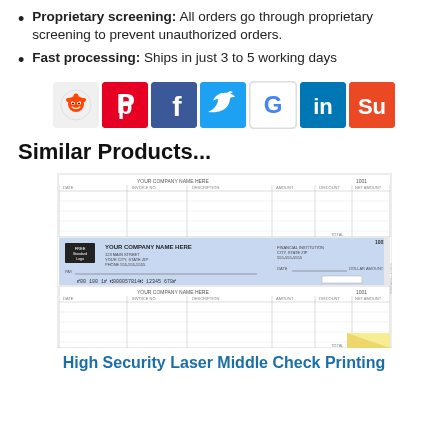Proprietary screening: All orders go through proprietary screening to prevent unauthorized orders.
Fast processing: Ships in just 3 to 5 working days
[Figure (infographic): Row of social media sharing icons: Reddit, Pinterest, Facebook, Twitter, Google, LinkedIn, StumbleUpon]
Similar Products...
[Figure (photo): Product image of a High Security Laser Middle Check with stub sections above and below the check, showing a sample business check with company name, MICR line, and blue security background.]
High Security Laser Middle Check Printing